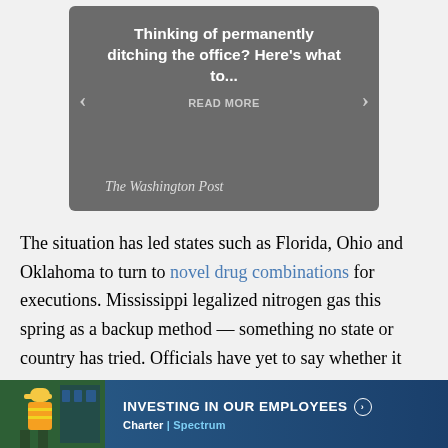[Figure (screenshot): Washington Post promotional card with dark grey background showing article headline 'Thinking of permanently ditching the office? Here's what to...' with READ MORE link and navigation arrows, Washington Post logo at bottom]
The situation has led states such as Florida, Ohio and Oklahoma to turn to novel drug combinations for executions. Mississippi legalized nitrogen gas this spring as a backup method — something no state or country has tried. Officials have yet to say whether it would be
[Figure (screenshot): Charter Spectrum advertisement banner with dark blue background showing worker in hard hat and safety vest with text 'INVESTING IN OUR EMPLOYEES' and Charter Spectrum logo]